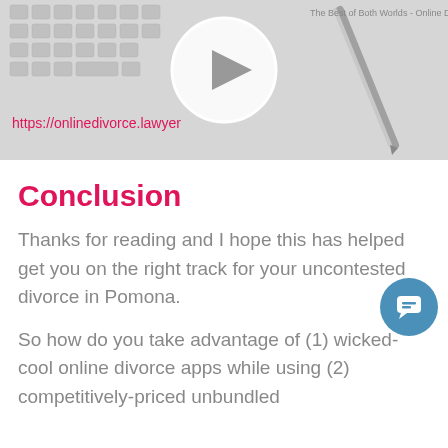[Figure (screenshot): Video thumbnail showing a keyboard and pen with a play button circle overlay and URL 'https://onlinedivorce.lawyer' and text 'The Best of Both Worlds - Online Divorce by a Local Lawyer']
Conclusion
Thanks for reading and I hope this has helped get you on the right track for your uncontested divorce in Pomona.
So how do you take advantage of (1) wicked-cool online divorce apps while using (2) competitively-priced unbundled legal services offered by a local law